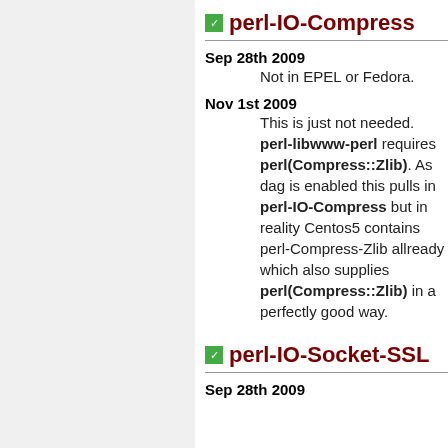perl-IO-Compress
Sep 28th 2009
Not in EPEL or Fedora.
Nov 1st 2009
This is just not needed. perl-libwww-perl requires perl(Compress::Zlib). As dag is enabled this pulls in perl-IO-Compress but in reality Centos5 contains perl-Compress-Zlib allready which also supplies perl(Compress::Zlib) in a perfectly good way.
perl-IO-Socket-SSL
Sep 28th 2009